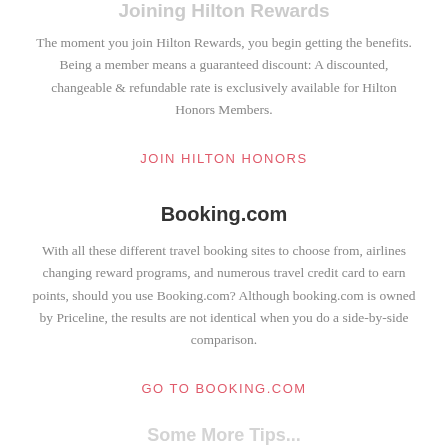The moment you join Hilton Rewards, you begin getting the benefits. Being a member means a guaranteed discount: A discounted, changeable & refundable rate is exclusively available for Hilton Honors Members.
JOIN HILTON HONORS
Booking.com
With all these different travel booking sites to choose from, airlines changing reward programs, and numerous travel credit card to earn points, should you use Booking.com? Although booking.com is owned by Priceline, the results are not identical when you do a side-by-side comparison.
GO TO BOOKING.COM